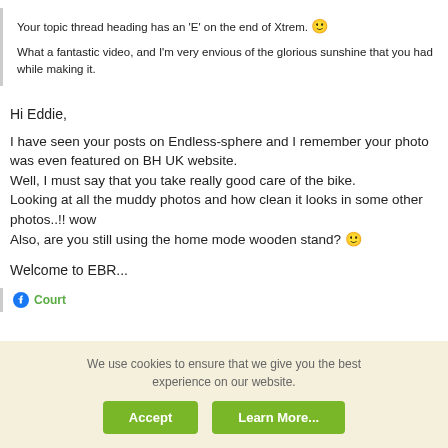Your topic thread heading has an 'E' on the end of Xtrem. 🙂
What a fantastic video, and I'm very envious of the glorious sunshine that you had while making it.
Hi Eddie,
I have seen your posts on Endless-sphere and I remember your photo was even featured on BH UK website.
Well, I must say that you take really good care of the bike.
Looking at all the muddy photos and how clean it looks in some other photos..!! wow
Also, are you still using the home mode wooden stand? 🙂
Welcome to EBR...
Court
We use cookies to ensure that we give you the best experience on our website.